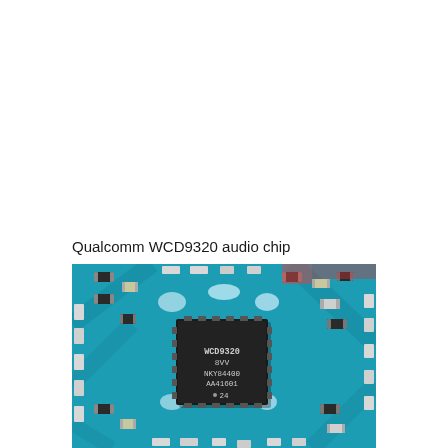Qualcomm WCD9320 audio chip
[Figure (photo): Close-up photograph of a Qualcomm WCD9320 audio chip mounted on a blue PCB circuit board, surrounded by surface-mount components (capacitors, resistors). The chip is a black square IC with text reading: WCD9320 / 8VV / NKY84400 / AA41601 / 24]